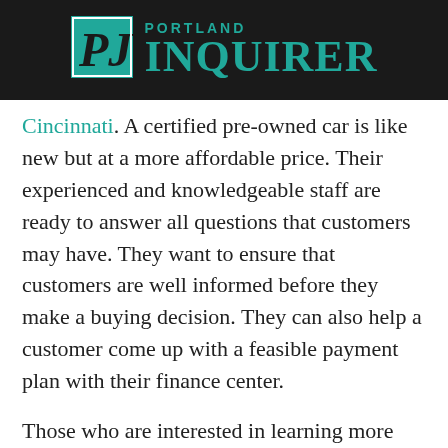Portland Inquirer
Cincinnati. A certified pre-owned car is like new but at a more affordable price. Their experienced and knowledgeable staff are ready to answer all questions that customers may have. They want to ensure that customers are well informed before they make a buying decision. They can also help a customer come up with a feasible payment plan with their finance center.
Those who are interested in learning more about used vehicles for sale in Cincinnati can check out the Jake Sweeney Used Car Superstore website, or contact them on the phone or through email. They are open from 9:00 am to 8:00 pm, from Monday to Thursday; from 9:00 am